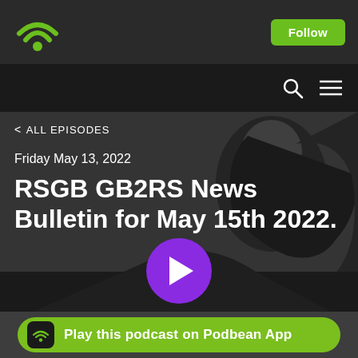[Figure (logo): Podbean WiFi logo in green on dark gray top bar]
Follow
[Figure (screenshot): Navigation bar with search and menu icons on black background]
< ALL EPISODES
Friday May 13, 2022
RSGB GB2RS News Bulletin for May 15th 2022.
[Figure (other): Purple circular play button centered over grayscale photo background]
Play this podcast on Podbean App